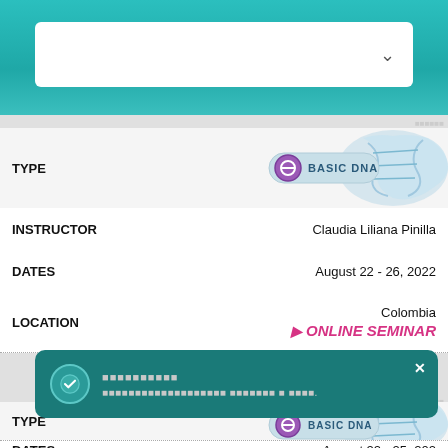[Figure (screenshot): Teal header bar with white search/dropdown box with chevron]
TYPE
[Figure (logo): Basic DNA badge with blue crystalline DNA graphic]
INSTRUCTOR
Claudia Liliana Pinilla
DATES
August 22 - 26, 2022
LOCATION
Colombia
ONLINE SEMINAR
TYPE
[Figure (logo): Basic DNA badge with blue crystalline DNA graphic]
INSTRUCTOR
DATES
August 22 - 25, 2022